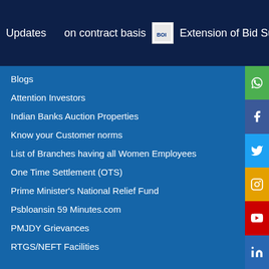Updates   on contract basis   Extension of Bid Submission dote In
Blogs
Attention Investors
Indian Banks Auction Properties
Know your Customer norms
List of Branches having all Women Employees
One Time Settlement (OTS)
Prime Minister's National Relief Fund
Psbloansin 59 Minutes.com
PMJDY Grievances
RTGS/NEFT Facilities